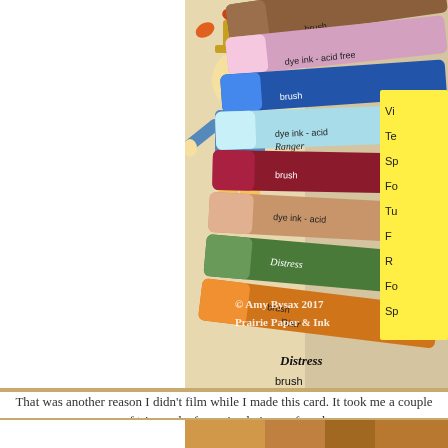[Figure (photo): Close-up photo of Distress Markers (Ranger brand, Tim Holtz) in various colors including brown, pink, blue, light blue, dark red/crimson, tan/peach, orange, and green, arranged in a fan-like spread. A cartoon scarecrow illustration is visible in the background left. A yellow sticky note with partial text is visible on the right. Copyright watermark reads '© Amy Bysax 2017 Prairie Paper & Ink'.]
That was another reason I didn't film while I made this card. It took me a couple of tries and a few ruined pieces of card
[Figure (photo): Partial view of a card or illustration at the bottom of the page, showing warm orange/brown tones.]